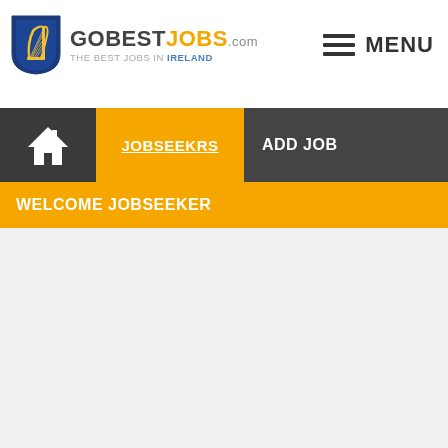[Figure (logo): GoBestJobs.com logo with Irish harp shield and tagline 'The best jobs in Ireland']
MENU
JOBSEEKRS  ADD JOB
WELCOME JOBSEEKER